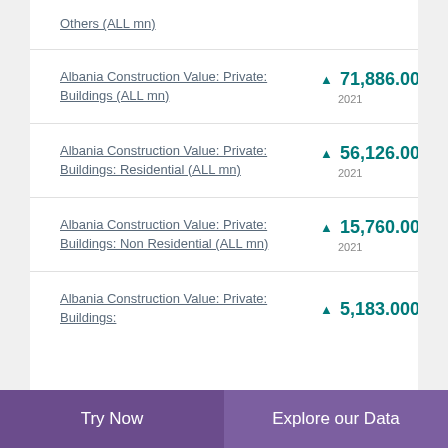Others (ALL mn)
Albania Construction Value: Private: Buildings (ALL mn)
Albania Construction Value: Private: Buildings: Residential (ALL mn)
Albania Construction Value: Private: Buildings: Non Residential (ALL mn)
Albania Construction Value: Private: Buildings:
Try Now | Explore our Data